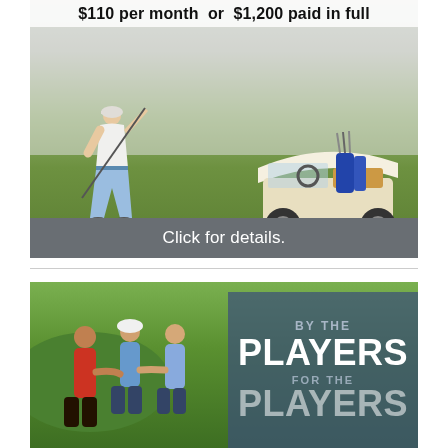[Figure (photo): Golf advertisement banner showing a golfer swinging a club on a misty green course with a golf cart on the right, price text at top reading '$110 per month or $1,200 paid in full', and a dark gray 'Click for details.' call-to-action bar at the bottom.]
[Figure (photo): Second golf advertisement showing three golfers shaking hands on a golf course, with a dark blue overlay on the right side containing bold white text reading 'BY THE PLAYERS FOR THE PLAYERS'.]